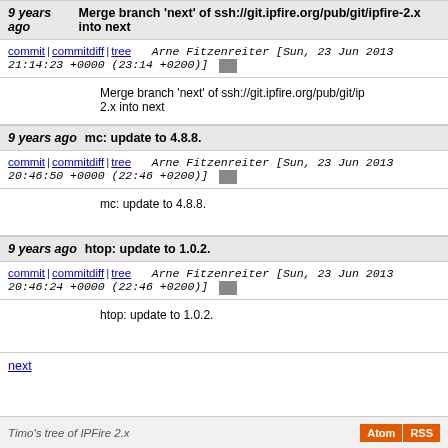9 years ago   Merge branch 'next' of ssh://git.ipfire.org/pub/git/ipfire-2.x into next
commit | commitdiff | tree   Arne Fitzenreiter [Sun, 23 Jun 2013 21:14:23 +0000 (23:14 +0200)]
Merge branch 'next' of ssh://git.ipfire.org/pub/git/ipfire-2.x into next
9 years ago   mc: update to 4.8.8.
commit | commitdiff | tree   Arne Fitzenreiter [Sun, 23 Jun 2013 20:46:50 +0000 (22:46 +0200)]
mc: update to 4.8.8.
9 years ago   htop: update to 1.0.2.
commit | commitdiff | tree   Arne Fitzenreiter [Sun, 23 Jun 2013 20:46:24 +0000 (22:46 +0200)]
htop: update to 1.0.2.
next
Timo's tree of IPFire 2.x   Atom RSS